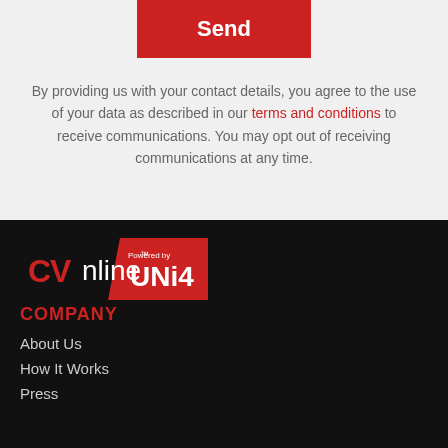[Figure (logo): Red Send button]
By providing us with your contact details, you agree to the use of your data as described in our terms and conditions to receive communications. You may opt out of receiving communications at any time.
[Figure (logo): CVOnline powered by UNi4 logo on black background]
COMPANY
About Us
How It Works
Press